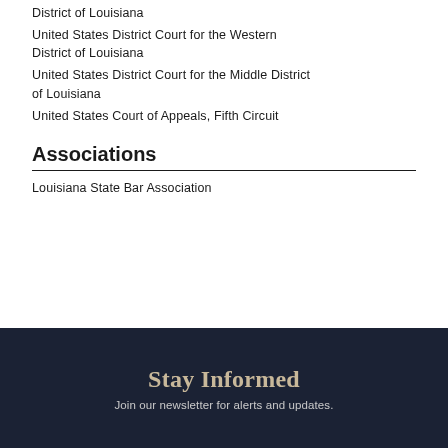District of Louisiana
United States District Court for the Western District of Louisiana
United States District Court for the Middle District of Louisiana
United States Court of Appeals, Fifth Circuit
Associations
Louisiana State Bar Association
Stay Informed
Join our newsletter for alerts and updates.